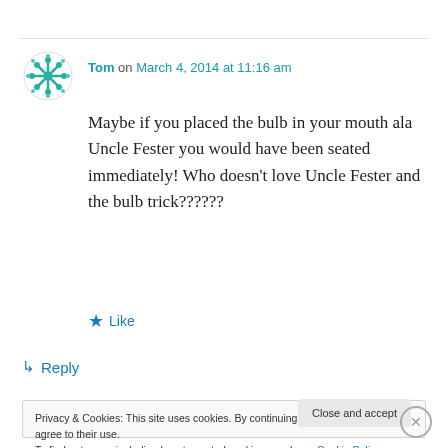[Figure (illustration): User avatar icon — teal/green snowflake-like pattern on white circle background]
Tom on March 4, 2014 at 11:16 am
Maybe if you placed the bulb in your mouth ala Uncle Fester you would have been seated immediately! Who doesn't love Uncle Fester and the bulb trick??????
★ Like
↳ Reply
Privacy & Cookies: This site uses cookies. By continuing to use this website, you agree to their use.
To find out more, including how to control cookies, see here: Cookie Policy
Close and accept